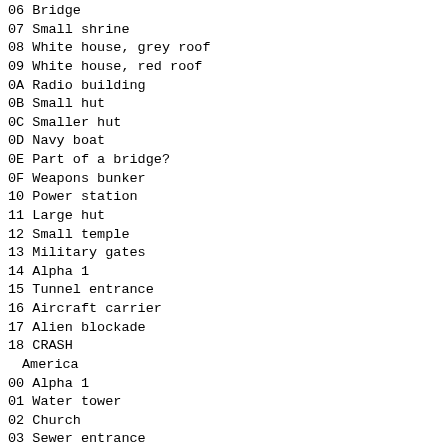06  Bridge
07  Small shrine
08  White house, grey roof
09  White house, red roof
0A  Radio building
0B  Small hut
0C  Smaller hut
0D  Navy boat
0E  Part of a bridge?
0F  Weapons bunker
10  Power station
11  Large hut
12  Small temple
13  Military gates
14  Alpha 1
15  Tunnel entrance
16  Aircraft carrier
17  Alien blockade
18  CRASH
America
00  Alpha 1
01  Water tower
02  Church
03  Sewer entrance
04  Hanger
05  Fruit store
06  "Poke" building
07  Suburban house
08  School
09  Tall white house
0A  Control tower
0B  Radio mast skyscraper